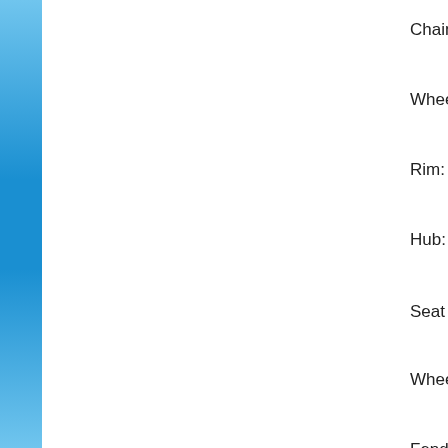Chain: KMC
Wheel/Tyres: 20...
Rim: Al alloy
Hub: Al alloy
Seat Post: Alum...
Wheel Reflecto...
Fender: Black w...
Chain Guard: C...
Accessories:
Stand: Al alloy
Rear Carrier: Al...
Dimension/Weig...
Product Dimens...